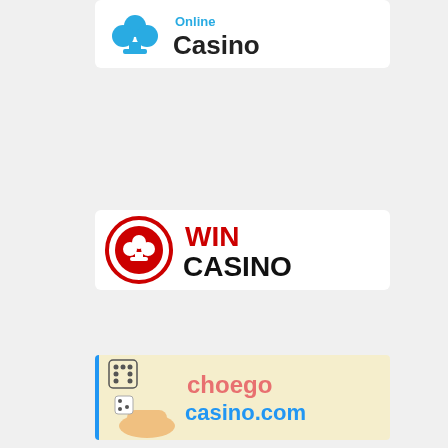[Figure (logo): Online Casino logo with blue club card suit icon and text 'Online Casino' in blue/dark]
[Figure (logo): Win Casino logo with roulette wheel icon and text 'WIN CASINO' in red/black on white background]
[Figure (logo): Choego casino.com logo with hand holding dice on light yellow/blue background]
[Figure (logo): Boecasino logo with pink flame/dice icon and white text 'boecasino' on black background]